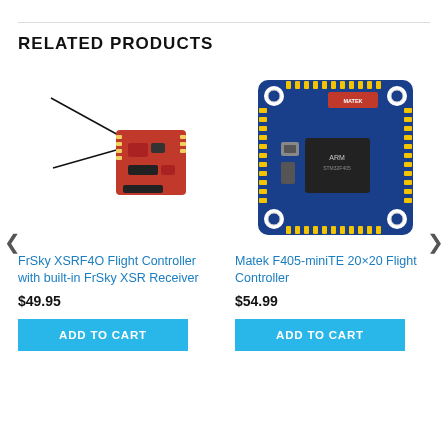RELATED PRODUCTS
[Figure (photo): FrSky XSRF4O flight controller receiver board — small red PCB with two black wire antennas]
FrSky XSRF4O Flight Controller with built-in FrSky XSR Receiver
$49.95
ADD TO CART
[Figure (photo): Matek F405-miniTE 20x20 Flight Controller — square blue PCB with yellow pads, ARM processor chip, and corner mounting holes]
Matek F405-miniTE 20×20 Flight Controller
$54.99
ADD TO CART